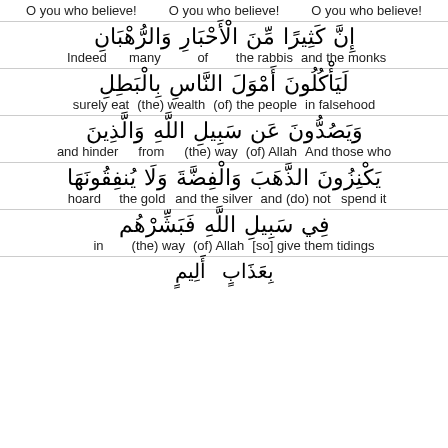O you who believe!  O you who believe!  O you who believe!
[Figure (other): Quranic verse interlinear translation with Arabic text and English word-for-word translations. Row 1: إنَّ كَثِيرًا مِّنَ الْأَحْبَارِ وَالرُّهْبَانِ - Indeed many of the rabbis and the monks. Row 2: لَيَأْكُلُونَ أَمْوَلَ النَّاسِ بِالْبَطِلِ - surely eat (the) wealth (of) the people in falsehood. Row 3: وَيَصُدُّونَ عَن سَبِيلِ اللَّهِ وَالَّذِينَ - and hinder from (the) way (of) Allah And those who. Row 4: يَكْنِزُونَ الذَّهَبَ وَالْفِضَّةَ وَلَا يُنفِقُونَهَا - hoard the gold and the silver and (do) not spend it. Row 5: فِي سَبِيلِ اللَّهِ فَبَشِّرْهُم - in (the) way (of) Allah [so] give them tidings.]